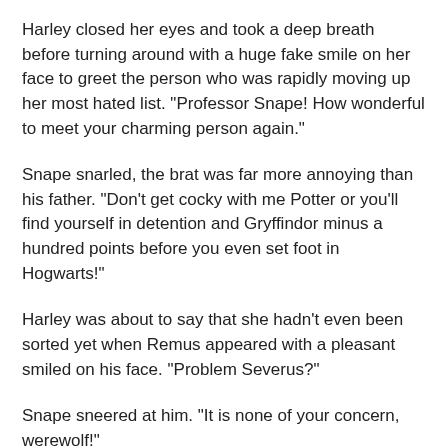Harley closed her eyes and took a deep breath before turning around with a huge fake smile on her face to greet the person who was rapidly moving up her most hated list. "Professor Snape! How wonderful to meet your charming person again."
Snape snarled, the brat was far more annoying than his father. "Don't get cocky with me Potter or you'll find yourself in detention and Gryffindor minus a hundred points before you even set foot in Hogwarts!"
Harley was about to say that she hadn't even been sorted yet when Remus appeared with a pleasant smiled on his face. "Problem Severus?"
Snape sneered at him. "It is none of your concern, werewolf!"